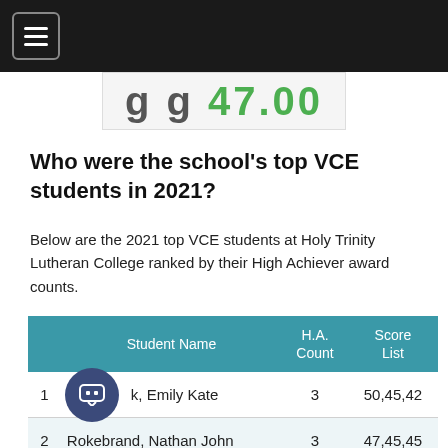[Figure (screenshot): Partially visible score banner showing large digits and green text on light background]
Who were the school's top VCE students in 2021?
Below are the 2021 top VCE students at Holy Trinity Lutheran College ranked by their High Achiever award counts.
|  | Student Name | H.A. Count | Score List |
| --- | --- | --- | --- |
| 1 | k, Emily Kate | 3 | 50,45,42 |
| 2 | Rokebrand, Nathan John | 3 | 47,45,45 |